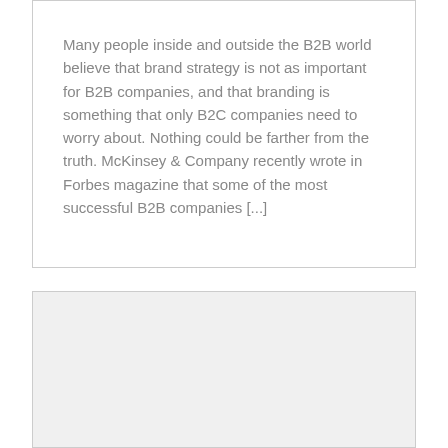Many people inside and outside the B2B world believe that brand strategy is not as important for B2B companies, and that branding is something that only B2C companies need to worry about. Nothing could be farther from the truth. McKinsey & Company recently wrote in Forbes magazine that some of the most successful B2B companies [...]
READ MORE